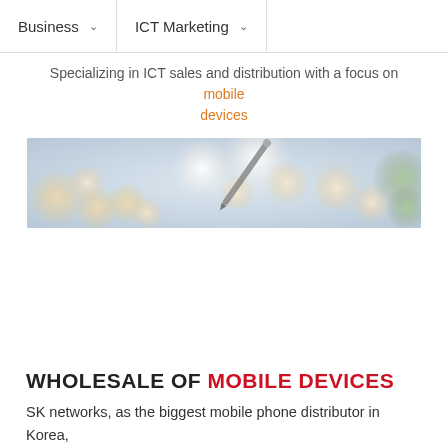Business   ICT Marketing
Specializing in ICT sales and distribution with a focus on mobile devices
[Figure (photo): Bokeh background with a smartphone held in hand, featuring blurred orange and white circular lights against a soft blue-grey background]
WHOLESALE OF MOBILE DEVICES
SK networks, as the biggest mobile phone distributor in Korea,